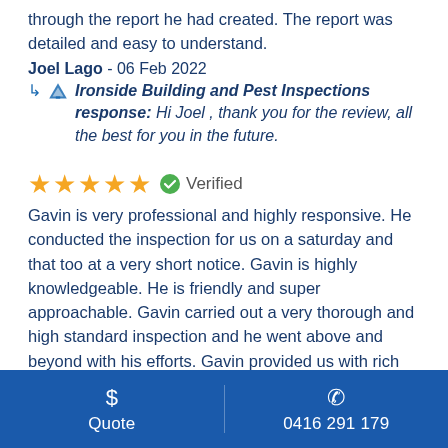through the report he had created. The report was detailed and easy to understand.
Joel Lago - 06 Feb 2022
↳ Ironside Building and Pest Inspections response: Hi Joel , thank you for the review, all the best for you in the future.
[Figure (infographic): Five yellow stars rating with green verified checkmark badge and 'Verified' label]
Gavin is very professional and highly responsive. He conducted the inspection for us on a saturday and that too at a very short notice. Gavin is highly knowledgeable. He is friendly and super approachable. Gavin carried out a very thorough and high standard inspection and he went above and beyond with his efforts. Gavin provided us with rich information
$ Quote   0416 291 179